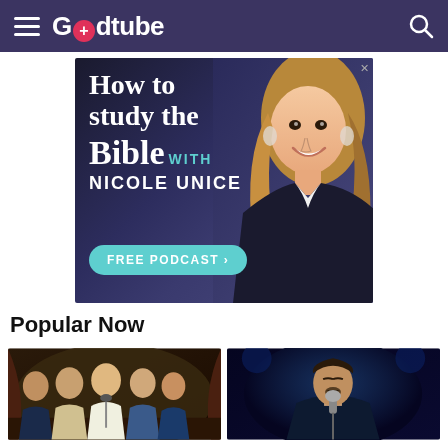Godtube
[Figure (photo): Advertisement banner: 'How to study the Bible with Nicole Unice - Free Podcast' featuring a smiling woman with blonde hair]
Popular Now
[Figure (photo): Video thumbnail: group of men singing on stage, vintage style, wearing 1970s clothing]
[Figure (photo): Video thumbnail: man singing into a microphone with eyes closed, on dark stage with blue lighting]